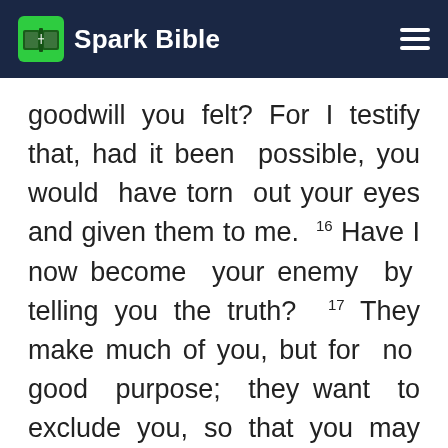Spark Bible
goodwill you felt? For I testify that, had it been possible, you would have torn out your eyes and given them to me. 16 Have I now become your enemy by telling you the truth? 17 They make much of you, but for no good purpose; they want to exclude you, so that you may make much of them. 18 It is good to be made much of for a good purpose at all times, and not only when I am present with you. 19 My